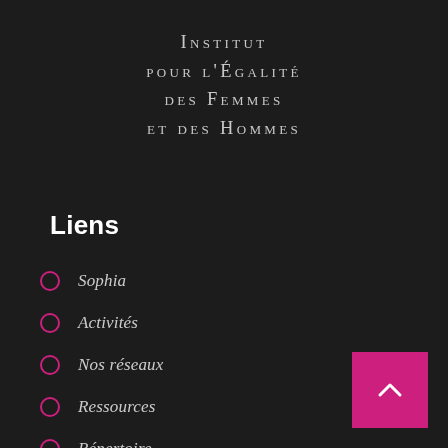Institut pour l'Égalité des Femmes et des Hommes
Liens
Sophia
Activités
Nos réseaux
Ressources
Répertoire
Actualités des études de genre